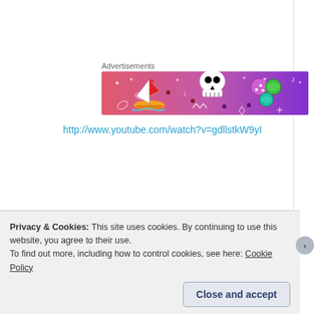Advertisements
[Figure (illustration): Colorful rectangular advertisement banner with gradient background from pink/red on the left to purple on the right, featuring cartoon doodle illustrations including a sailboat, skull, dice/balls, and various decorative symbols.]
http://www.youtube.com/watch?v=gdllstkW9yI
Privacy & Cookies: This site uses cookies. By continuing to use this website, you agree to their use.
To find out more, including how to control cookies, see here: Cookie Policy
Close and accept